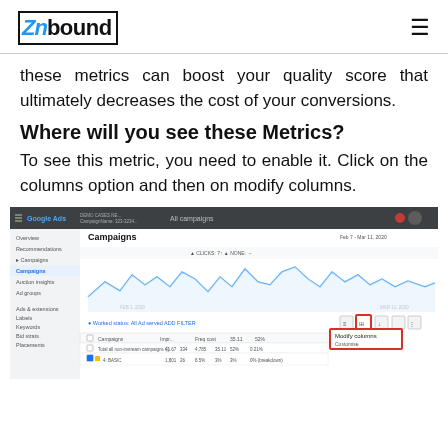Znbound
these metrics can boost your quality score that ultimately decreases the cost of your conversions.
Where will you see these Metrics?
To see this metric, you need to enable it. Click on the columns option and then on modify columns.
[Figure (screenshot): Google Ads interface screenshot showing the Campaigns view with a line chart of clicks over time, and a toolbar with the 'Modify columns' option highlighted in a red box.]